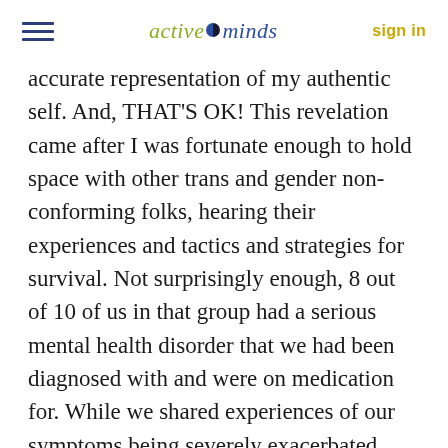active minds   sign in
accurate representation of my authentic self. And, THAT'S OK! This revelation came after I was fortunate enough to hold space with other trans and gender non-conforming folks, hearing their experiences and tactics and strategies for survival. Not surprisingly enough, 8 out of 10 of us in that group had a serious mental health disorder that we had been diagnosed with and were on medication for. While we shared experiences of our symptoms being severely exacerbated while being forced to be unauthentic, we